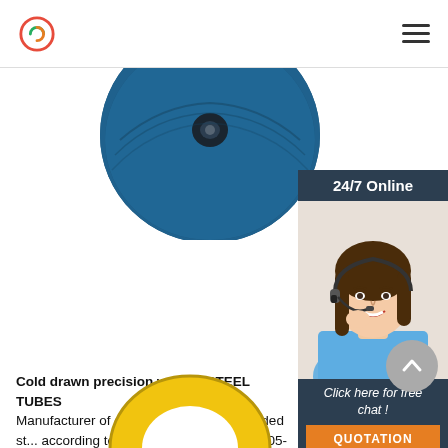Logo and navigation menu
[Figure (photo): Blue industrial reel/coil of steel tubing, partially cropped at top]
[Figure (photo): 24/7 Online customer support panel with a woman wearing a headset, smiling. Includes 'Click here for free chat!' text and QUOTATION button.]
Cold drawn precision welded STEEL TUBES Manufacturer of cold drawn precision welded st... according to EN-10305-2 and EN-10305-3. Brass... profiles. Customized manufacturing.
[Figure (other): Green 'Get Price' button]
[Figure (other): Grey circular scroll-to-top arrow button]
[Figure (photo): Yellow industrial ring/shackle, partially visible at bottom of page]